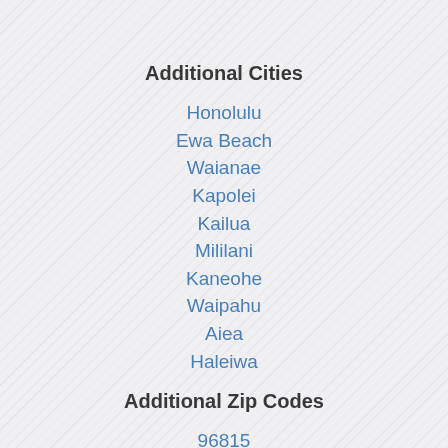Additional Cities
Honolulu
Ewa Beach
Waianae
Kapolei
Kailua
Mililani
Kaneohe
Waipahu
Aiea
Haleiwa
Additional Zip Codes
96815
96814